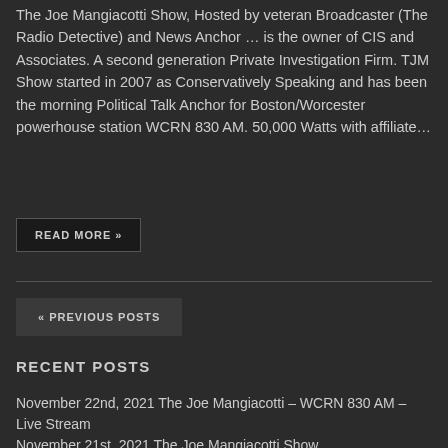The Joe Mangiacotti Show, Hosted by veteran Broadcaster (The Radio Detective) and News Anchor ... is the owner of CIS and Associates. A second generation Private Investigation Firm. TJM Show started in 2007 as Conservatively Speaking and has been the morning Political Talk Anchor for Boston/Worcester powerhouse station WCRN 830 AM. 50,000 Watts with affiliate...
READ MORE »
« PREVIOUS POSTS
RECENT POSTS
November 22nd, 2021 The Joe Mangiacotti – WCRN 830 AM – Live Stream
November 21st, 2021 The Joe Mangiacotti Show...